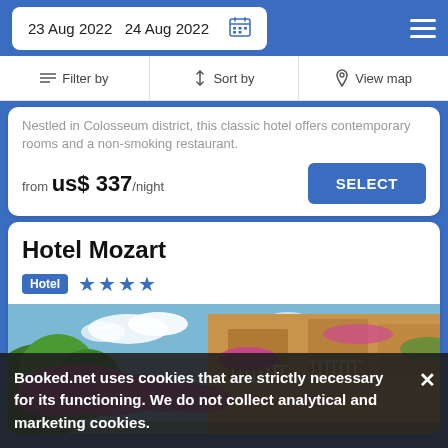23 Aug 2022   24 Aug 2022
Filter by   Sort by   View map
Nestled in Colosseum district, this classic hotel offers contemporary rooms and a non-smoking restaurant.
from us$ 337/night  SELECT
Hotel Mozart
Hotel ★★★★
[Figure (photo): Exterior photo of Hotel Mozart showing pink bougainvillea flowers, green trees, balconies with plants, and ornate wrought-iron railings against a blue sky.]
Booked.net uses cookies that are strictly necessary for its functioning. We do not collect analytical and marketing cookies.